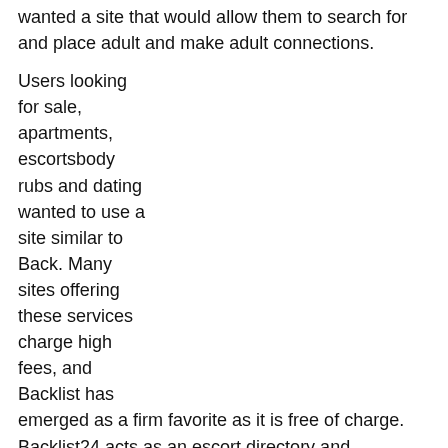wanted a site that would allow them to search for and place adult and make adult connections.
Users looking for sale, apartments, escortsbody rubs and dating wanted to use a site similar to Back. Many sites offering these services charge high fees, and Backlist has emerged as a firm favorite as it is free of charge. Backlist24 acts as an escort directory and thousands of free classified are posted on the site every day.